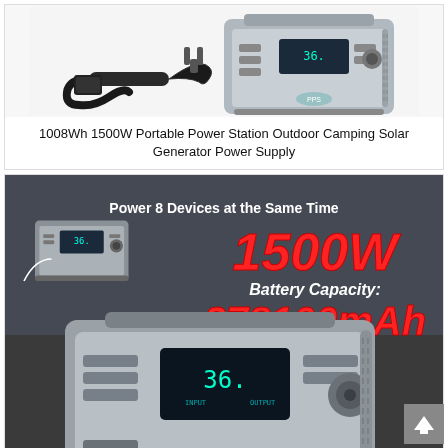[Figure (photo): Photo of a portable power station (1008Wh 1500W) with a power cable/adapter beside it, against a white background]
1008Wh 1500W Portable Power Station Outdoor Camping Solar Generator Power Supply
[Figure (photo): Product promotional image of a portable power station showing '1500W Battery Capacity: 278100mAh' with text 'Power 8 Devices at the Same Time'. Two units shown: one in background (smaller view) and one large close-up in foreground. The station is gray/silver with a digital display showing '36.' and various ports.]